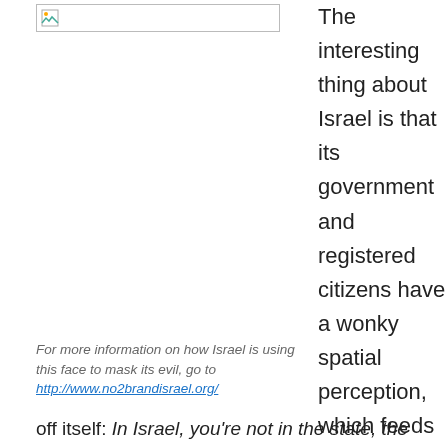[Figure (photo): Broken/missing image placeholder icon in top left area]
The interesting thing about Israel is that its government and registered citizens have a wonky spatial perception, which feeds off itself:
For more information on how Israel is using this face to mask its evil, go to http://www.no2brandisrael.org/
In Israel, you're not in the state, the state is in you. Due to this cyclical perception, along with the "standard" "nation branding" (a marketing lie on to